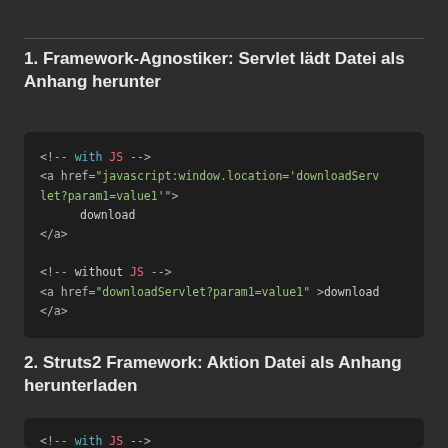1. Framework-Agnostiker: Servlet lädt Datei als Anhang herunter
[Figure (screenshot): Code block showing HTML anchor tag with JavaScript href for download servlet, with and without JS variants]
2. Struts2 Framework: Aktion Datei als Anhang herunterladen
[Figure (screenshot): Code block showing beginning of with JS comment]